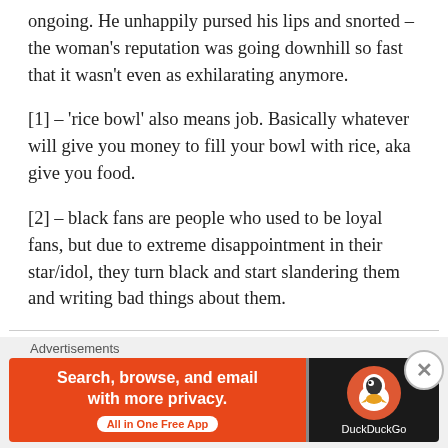ongoing. He unhappily pursed his lips and snorted – the woman's reputation was going downhill so fast that it wasn't even as exhilarating anymore.
[1] – 'rice bowl' also means job. Basically whatever will give you money to fill your bowl with rice, aka give you food.
[2] – black fans are people who used to be loyal fans, but due to extreme disappointment in their star/idol, they turn black and start slandering them and writing bad things about them.
Roamer @LoneWolfTranslations–
Advertisements
[Figure (other): DuckDuckGo advertisement banner with orange left panel reading 'Search, browse, and email with more privacy. All in One Free App' and dark right panel with DuckDuckGo duck logo.]